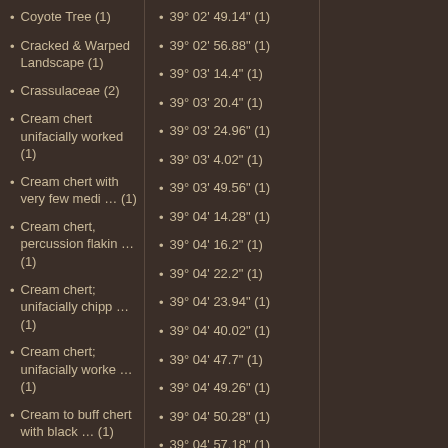Coyote Tree (1)
Cracked & Warped Landscape (1)
Crassulaceae (2)
Cream chert unifacially worked (1)
Cream chert with very few medi … (1)
Cream chert, percussion flakin … (1)
Cream chert; unifacially chipp … (1)
Cream chert; unifacially worke … (1)
Cream to buff chert with black … (1)
Cream to buff sandstone (1)
39° 02' 49.14" (1)
39° 02' 56.88" (1)
39° 03' 14.4" (1)
39° 03' 20.4" (1)
39° 03' 24.96" (1)
39° 03' 4.02" (1)
39° 03' 49.56" (1)
39° 04' 14.28" (1)
39° 04' 16.2" (1)
39° 04' 22.2" (1)
39° 04' 23.94" (1)
39° 04' 40.02" (1)
39° 04' 47.7" (1)
39° 04' 49.26" (1)
39° 04' 50.28" (1)
39° 04' 57.18" (1)
39° 04' 7.68" (1)